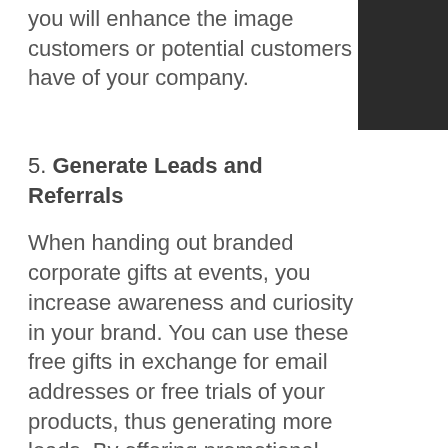you will enhance the image customers or potential customers have of your company.
5. Generate Leads and Referrals
When handing out branded corporate gifts at events, you increase awareness and curiosity in your brand. You can use these free gifts in exchange for email addresses or free trials of your products, thus generating more leads. By offering promotional gifts as an incentive, you can get referrals from existing customers.